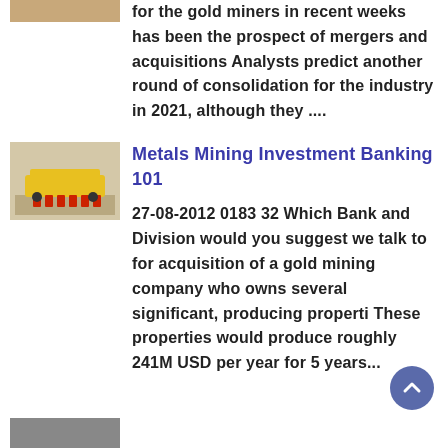[Figure (photo): Partial thumbnail image of a person at the top left, cropped]
for the gold miners in recent weeks has been the prospect of mergers and acquisitions Analysts predict another round of consolidation for the industry in 2021, although they ....
[Figure (photo): Thumbnail image of yellow and red mining equipment machinery]
Metals Mining Investment Banking 101
27-08-2012 0183 32 Which Bank and Division would you suggest we talk to for acquisition of a gold mining company who owns several significant, producing properti These properties would produce roughly 241M USD per year for 5 years...
[Figure (photo): Partial thumbnail image at the bottom left, partially visible]
[Figure (other): Scroll-to-top circular button with upward arrow]